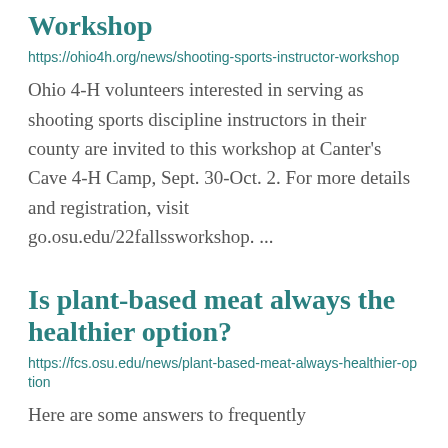Workshop
https://ohio4h.org/news/shooting-sports-instructor-workshop
Ohio 4-H volunteers interested in serving as shooting sports discipline instructors in their county are invited to this workshop at Canter's Cave 4-H Camp, Sept. 30-Oct. 2. For more details and registration, visit go.osu.edu/22fallssworkshop. ...
Is plant-based meat always the healthier option?
https://fcs.osu.edu/news/plant-based-meat-always-healthier-option
Here are some answers to frequently